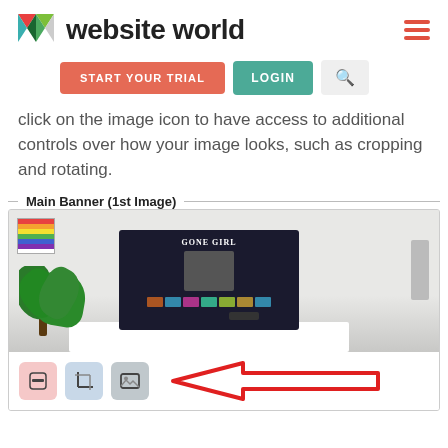[Figure (logo): Website World logo with colorful W icon and bold text 'website world']
[Figure (screenshot): Navigation buttons: START YOUR TRIAL (orange), LOGIN (teal), search icon (gray)]
click on the image icon to have access to additional controls over how your image looks, such as cropping and rotating.
Main Banner (1st Image)
[Figure (screenshot): Screenshot of website editor showing a living room with TV displaying 'GONE GIRL'. Below the image are three toolbar buttons (minus/delete, crop, image) with a red arrow pointing to the image/picture button on the right.]